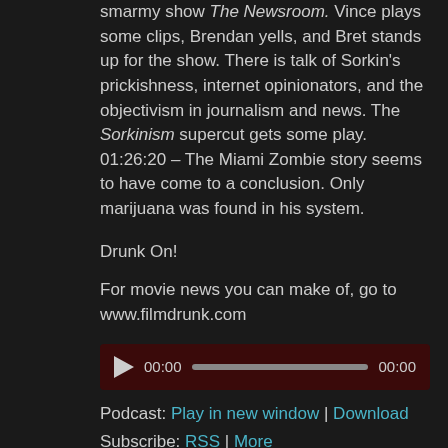smarmy show The Newsroom. Vince plays some clips, Brendan yells, and Bret stands up for the show. There is talk of Sorkin's prickishness, internet opinionators, and the objectivism in journalism and news. The Sorkinism supercut gets some play. 01:26:20 – The Miami Zombie story seems to have come to a conclusion. Only marijuana was found in his system.
Drunk On!
For movie news you can make of, go to www.filmdrunk.com
[Figure (other): Audio player with play button, 00:00 timestamps, and progress bar]
Podcast: Play in new window | Download
Subscribe: RSS | More